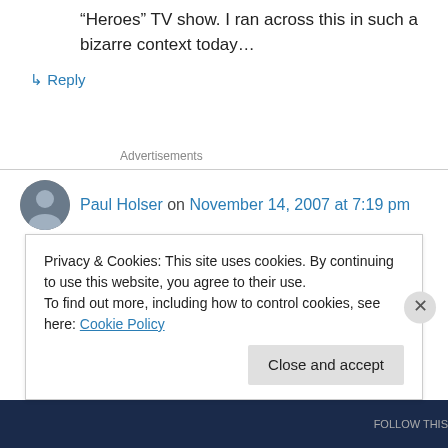“Heroes” TV show. I ran across this in such a bizarre context today…
↳ Reply
Advertisements
Paul Holser on November 14, 2007 at 7:19 pm
X-fu
Privacy & Cookies: This site uses cookies. By continuing to use this website, you agree to their use.
To find out more, including how to control cookies, see here: Cookie Policy
Close and accept